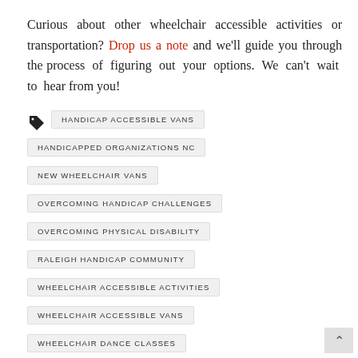Curious about other wheelchair accessible activities or transportation? Drop us a note and we'll guide you through the process of figuring out your options. We can't wait to hear from you!
HANDICAP ACCESSIBLE VANS
HANDICAPPED ORGANIZATIONS NC
NEW WHEELCHAIR VANS
OVERCOMING HANDICAP CHALLENGES
OVERCOMING PHYSICAL DISABILITY
RALEIGH HANDICAP COMMUNITY
WHEELCHAIR ACCESSIBLE ACTIVITIES
WHEELCHAIR ACCESSIBLE VANS
WHEELCHAIR DANCE CLASSES
WHEELCHAIR VANS NORTH CAROLINA